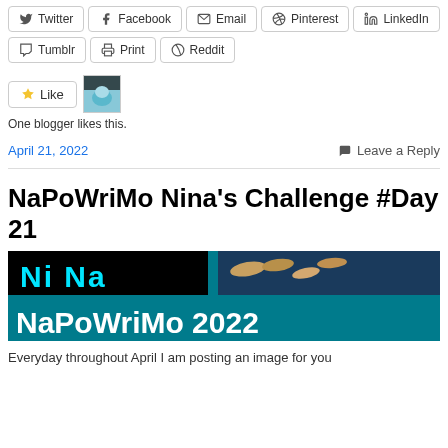Twitter  Facebook  Email  Pinterest  LinkedIn
Tumblr  Print  Reddit
[Figure (other): Like button with user avatar thumbnail]
One blogger likes this.
April 21, 2022    Leave a Reply
NaPoWriMo Nina's Challenge #Day 21
[Figure (illustration): NaPoWriMo 2022 banner image with teal/cyan background showing 'Ni Na' and 'NaPoWriMo 2022' text with fish image in top right]
Everyday throughout April I am posting an image for you